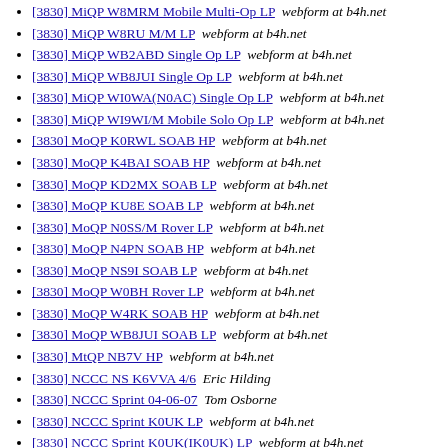[3830] MiQP W8MRM Mobile Multi-Op LP  webform at b4h.net
[3830] MiQP W8RU M/M LP  webform at b4h.net
[3830] MiQP WB2ABD Single Op LP  webform at b4h.net
[3830] MiQP WB8JUI Single Op LP  webform at b4h.net
[3830] MiQP WI0WA(N0AC) Single Op LP  webform at b4h.net
[3830] MiQP WI9WI/M Mobile Solo Op LP  webform at b4h.net
[3830] MoQP K0RWL SOAB HP  webform at b4h.net
[3830] MoQP K4BAI SOAB HP  webform at b4h.net
[3830] MoQP KD2MX SOAB LP  webform at b4h.net
[3830] MoQP KU8E SOAB LP  webform at b4h.net
[3830] MoQP N0SS/M Rover LP  webform at b4h.net
[3830] MoQP N4PN SOAB HP  webform at b4h.net
[3830] MoQP NS9I SOAB LP  webform at b4h.net
[3830] MoQP W0BH Rover LP  webform at b4h.net
[3830] MoQP W4RK SOAB HP  webform at b4h.net
[3830] MoQP WB8JUI SOAB LP  webform at b4h.net
[3830] MtQP NB7V HP  webform at b4h.net
[3830] NCCC NS K6VVA 4/6  Eric Hilding
[3830] NCCC Sprint 04-06-07  Tom Osborne
[3830] NCCC Sprint K0UK LP  webform at b4h.net
[3830] NCCC Sprint K0UK(IK0UK) LP  webform at b4h.net